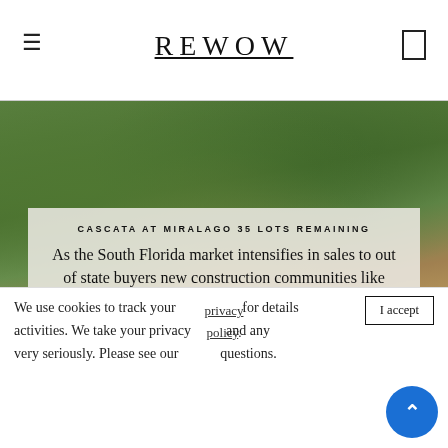REWOW
[Figure (photo): Outdoor greenery/trees with pool area visible, lush tropical landscape]
CASCATA AT MIRALAGO 35 LOTS REMAINING
As the South Florida market intensifies in sales to out of state buyers new construction communities like Cascata at MiraLago are almost sold out.  Currently...
Read More about Cascata at MiraLago 35 Lots Remaining
We use cookies to track your activities. We take your privacy very seriously. Please see our privacy policy for details and any questions.
I accept